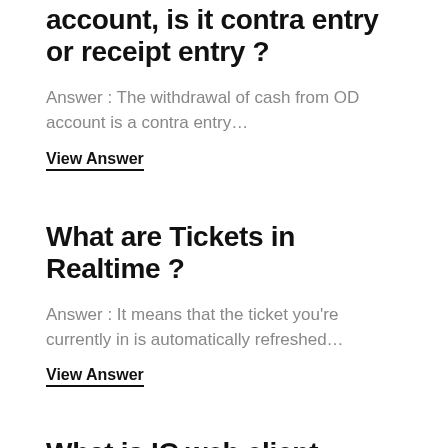account, is it contra entry or receipt entry ?
Answer : The withdrawal of cash from OD account is a contra entry…
View Answer
What are Tickets in Realtime ?
Answer : It means that the ticket you're currently in is automatically refreshed…
View Answer
What is IC web client Launcher ?